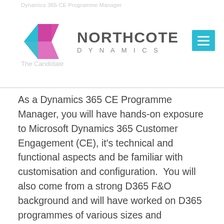Dynamics 365 CE Programme Manager
[Figure (logo): Northcote Dynamics logo with geometric diamond shapes in blue, teal, and pink/magenta, and text 'NORTHCOTE DYNAMICS']
As a Dynamics 365 CE Programme Manager, you will have hands-on exposure to Microsoft Dynamics 365 Customer Engagement (CE), it's technical and functional aspects and be familiar with customisation and configuration.  You will also come from a strong D365 F&O background and will have worked on D365 programmes of various sizes and complexities. You will have very strong stakeholder management skills and be able to utilise these effectively across multi-country programmes.